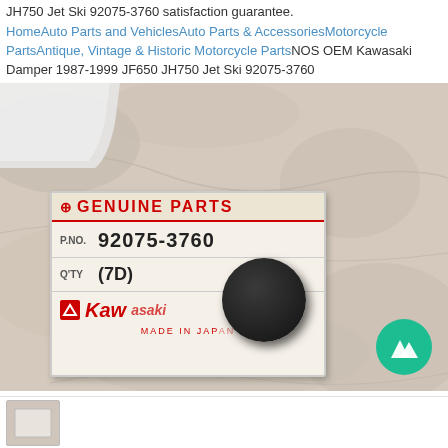JH750 Jet Ski 92075-3760 satisfaction guarantee.
HomeAuto Parts and VehiclesAuto Parts & AccessoriesMotorcycle PartsAntique, Vintage & Historic Motorcycle PartsNOS OEM Kawasaki Damper 1987-1999 JF650 JH750 Jet Ski 92075-3760
[Figure (photo): Photo of a NOS OEM Kawasaki genuine parts bag/label showing part number 92075-3760, quantity (7D), Kawasaki branding with MADE IN JAPAN text, and a black rubber damper part on a stone/marble surface.]
[Figure (photo): Thumbnail strip showing small preview images of the product.]